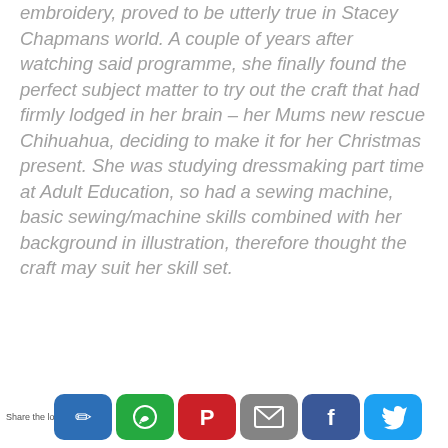embroidery, proved to be utterly true in Stacey Chapmans world. A couple of years after watching said programme, she finally found the perfect subject matter to try out the craft that had firmly lodged in her brain – her Mums new rescue Chihuahua, deciding to make it for her Christmas present. She was studying dressmaking part time at Adult Education, so had a sewing machine, basic sewing/machine skills combined with her background in illustration, therefore thought the craft may suit her skill set.
Share the love! [social share buttons: Plurk, WhatsApp, Pinterest, Email, Facebook, Twitter]